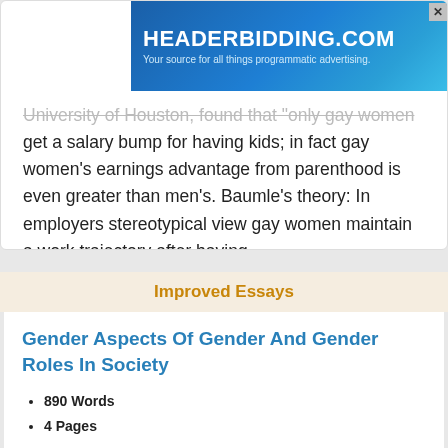[Figure (other): HEADERBIDDING.COM advertisement banner — blue gradient background with white bold text and subtitle 'Your source for all things programmatic advertising.']
University of Houston, found that 'only gay women get a salary bump for having kids; in fact gay women's earnings advantage from parenthood is even greater than men's. Baumle's theory: In employers stereotypical view gay women maintain a work trajectory after having…'
Read More
Improved Essays
Gender Aspects Of Gender And Gender Roles In Society
890 Words
4 Pages